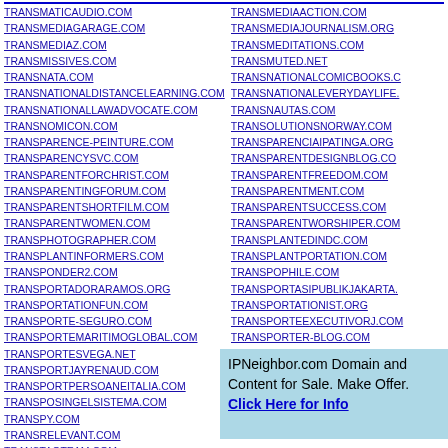TRANSMATICAUDIO.COM
TRANSMEDIAGARAGE.COM
TRANSMEDIAZ.COM
TRANSMISSIVES.COM
TRANSNATA.COM
TRANSNATIONALDISTANCELEARNING.COM
TRANSNATIONALLAWADVOCATE.COM
TRANSNOMICON.COM
TRANSPARENCE-PEINTURE.COM
TRANSPARENCYSVC.COM
TRANSPARENTFORCHRIST.COM
TRANSPARENTINGFORUM.COM
TRANSPARENTSHORTFILM.COM
TRANSPARENTWOMEN.COM
TRANSPHOTOGRAPHER.COM
TRANSPLANTINFORMERS.COM
TRANSPONDER2.COM
TRANSPORTADORARAMOS.ORG
TRANSPORTATIONFUN.COM
TRANSPORTE-SEGURO.COM
TRANSPORTEMARITIMOGLOBAL.COM
TRANSPORTESVEGA.NET
TRANSPORTJAYRENAUD.COM
TRANSPORTPERSOANEITALIA.COM
TRANSPOSINGELSISTEMA.COM
TRANSPY.COM
TRANSRELEVANT.COM
TRANSTAOTEAM.COM
TRANSMEDIAACTION.COM
TRANSMEDIAJOURNALISM.ORG
TRANSMEDITATIONS.COM
TRANSMUTED.NET
TRANSNATIONALCOMICBOOKS.C...
TRANSNATIONALEVERYDAYLIFE....
TRANSNAUTAS.COM
TRANSOLUTIONSNORWAY.COM
TRANSPARENCIAIPATINGA.ORG
TRANSPARENTDESIGNBLOG.CO...
TRANSPARENTFREEDOM.COM
TRANSPARENTMENT.COM
TRANSPARENTSUCCESS.COM
TRANSPARENTWORSHIPER.COM...
TRANSPLANTEDINDC.COM
TRANSPLANTPORTATION.COM
TRANSPOPHILE.COM
TRANSPORTASIPUBLIKJAKARTA....
TRANSPORTATIONIST.ORG
TRANSPORTEEXECUTIVORJ.COM...
TRANSPORTER-BLOG.COM
TRANSPORTESVIALES.COM
TRANSPORTLOGISTICS-FOCUS.C...
IPNeighbor.com Domain and Content for Sale. Make Offer. Click Here for Info